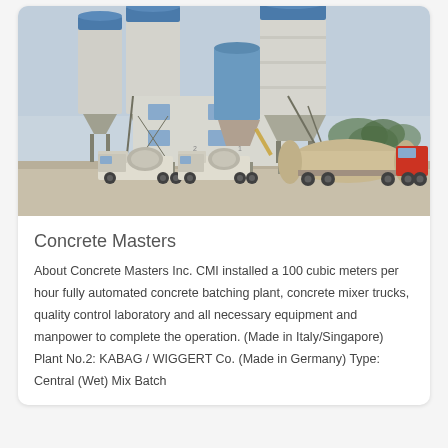[Figure (photo): Photograph of a concrete batching plant facility showing large blue and grey cylindrical silos, a multi-story white building structure, concrete mixer trucks, and a tanker truck in the foreground, with trees visible in the background.]
Concrete Masters
About Concrete Masters Inc. CMI installed a 100 cubic meters per hour fully automated concrete batching plant, concrete mixer trucks, quality control laboratory and all necessary equipment and manpower to complete the operation. (Made in Italy/Singapore) Plant No.2: KABAG / WIGGERT Co. (Made in Germany) Type: Central (Wet) Mix Batch